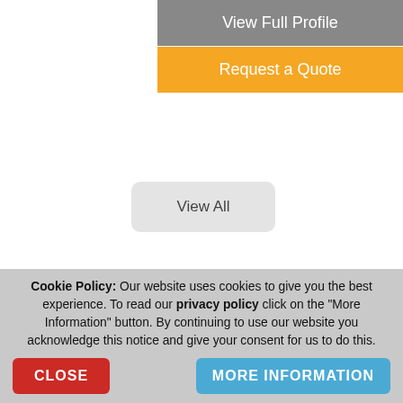View Full Profile
Request a Quote
View All
Click here to view all of our Trios in United States
VIRTUAL SERVICES
QUICK SEARCH
Cookie Policy: Our website uses cookies to give you the best experience. To read our privacy policy click on the "More Information" button. By continuing to use our website you acknowledge this notice and give your consent for us to do this.
CLOSE
MORE INFORMATION